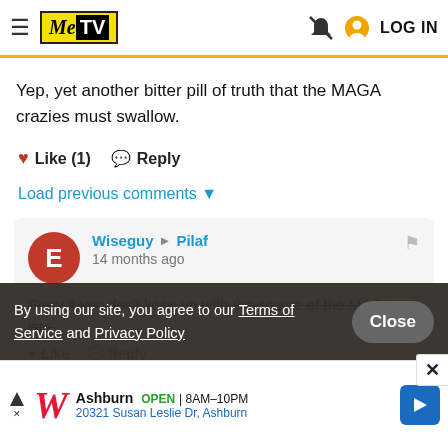MeTV — LOG IN
Yep, yet another bitter pill of truth that the MAGA crazies must swallow.
♥ Like (1)  💬 Reply
Load previous comments ▾
Wiseguy → Pilaf
14 months ago
Sorry if you don't keep up with the course of the MAGA-ists.
By using our site, you agree to our Terms of Service and Privacy Policy
[Figure (screenshot): Walgreens advertisement: Ashburn OPEN 8AM–10PM, 20321 Susan Leslie Dr, Ashburn with navigation icon]